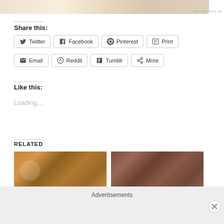[Figure (photo): Partial top image strip showing food/colorful items]
REPORT THIS AD
Share this:
Twitter
Facebook
Pinterest
Print
Email
Reddit
Tumblr
More
Like this:
Loading...
RELATED
[Figure (photo): Related food image 1 - granola or oatmeal dish]
[Figure (photo): Related food image 2 - chocolate truffles or balls]
Advertisements